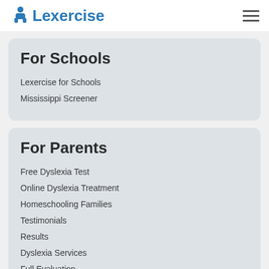Lexercise
For Schools
Lexercise for Schools
Mississippi Screener
For Parents
Free Dyslexia Test
Online Dyslexia Treatment
Homeschooling Families
Testimonials
Results
Dyslexia Services
Full Evaluation
Need-based Scholarships:
Dyslexia Services Foundation